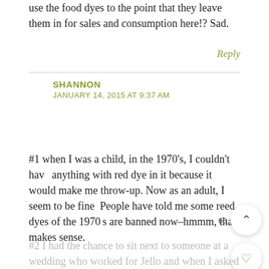use the food dyes to the point that they leave them in for sales and consumption here!? Sad.
Reply
SHANNON
JANUARY 14, 2015 AT 9:37 AM
#1 when I was a child, in the 1970's, I couldn't have anything with red dye in it because it would make me throw-up. Now as an adult, I seem to be fine. People have told me some reed dyes of the 1970's are banned now–hmmm, that makes sense.
#2 I had the chance to sit next to someone at a wedding who worked for Jello and when I asked